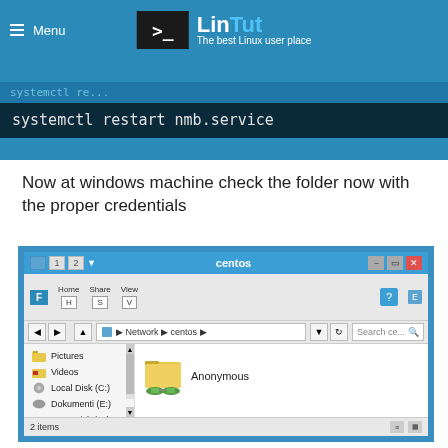Menu | LinTut — The best Linux user place
systemctl restart nmb.service
Now at windows machine check the folder now with the proper credentials
[Figure (screenshot): Windows File Explorer showing network share 'centos' with two folders: Anonymous and Secure. Sidebar shows Pictures, Videos, Local Disk (C:), Dokumenti (E:), USB Stick (G:), and Network. Address bar shows Network > centos. Status bar shows 2 items.]